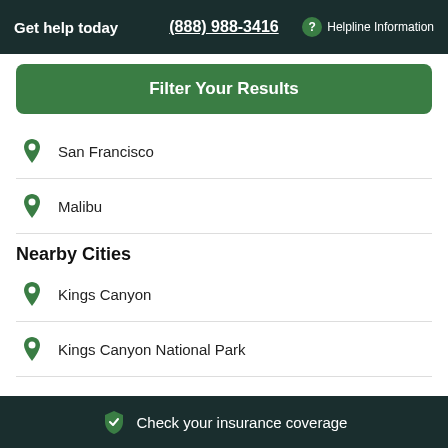Get help today  (888) 988-3416  Helpline Information
Filter Your Results
San Francisco
Malibu
Nearby Cities
Kings Canyon
Kings Canyon National Park
Check your insurance coverage